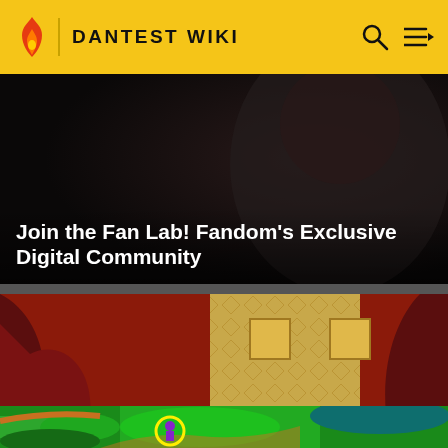DANTEST WIKI
[Figure (screenshot): Dark promotional banner: Join the Fan Lab! Fandom's Exclusive Digital Community]
Join the Fan Lab! Fandom's Exclusive Digital Community
[Figure (screenshot): Retro top-down RPG game screenshot showing a dungeon tile floor with a skeleton enemy labeled 'Skeleton', a character, and red burst effects. Dark red cave walls surround the tile area.]
Equipment Upgrade
TibiaWiki
[Figure (screenshot): Top-down map view with green terrain, water bodies, and a yellow circle marker with a small character icon visible]